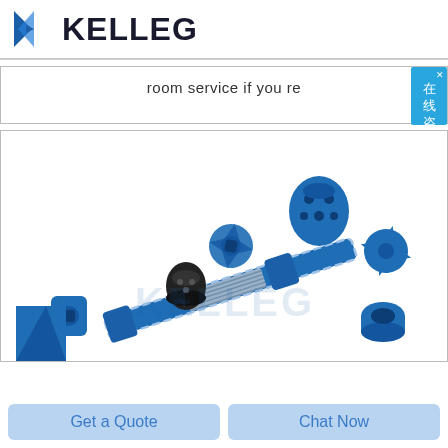[Figure (logo): KELLEG company logo with blue bowtie/tie icon and bold dark text]
room service if you re
[Figure (photo): Exploded view of blue and black drilling/mining rock bolt components including drill bits, couplings, nuts, and a threaded bolt body with metallic coil spring]
Get a Quote
Chat Now